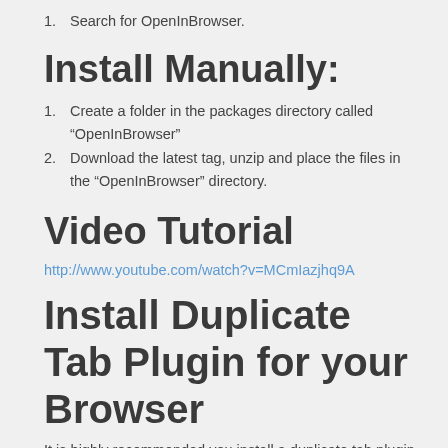1. Search for OpenInBrowser.
Install Manually:
1. Create a folder in the packages directory called “OpenInBrowser”
2. Download the latest tag, unzip and place the files in the “OpenInBrowser” directory.
Video Tutorial
http://www.youtube.com/watch?v=MCmIazjhq9A
Install Duplicate Tab Plugin for your Browser
It is highly recommended you install a duplicate tab plugin for your web browser if you do not want to